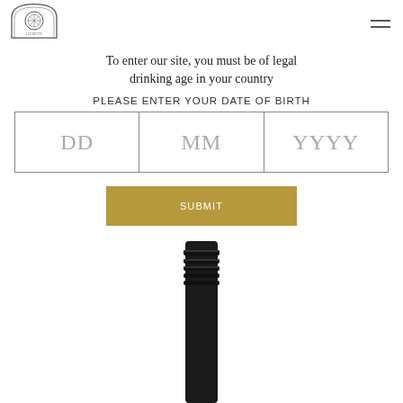[Figure (logo): Winery logo with ornate crest shape containing a circular emblem, text below]
To enter our site, you must be of legal drinking age in your country
PLEASE ENTER YOUR DATE OF BIRTH
[Figure (other): Date of birth input form with three boxes labeled DD, MM, YYYY]
[Figure (other): Submit button in gold/tan color]
[Figure (photo): Top of a dark wine bottle cap/cork cage visible from below, black metal]